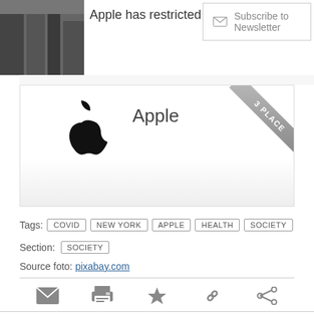[Figure (photo): Thumbnail of Apple building/city skyscrapers]
Apple has restricted visits ...
Subscribe to Newsletter
[Figure (logo): Apple logo (black apple silhouette)]
Apple
3 PLACE
Tags: COVID NEW YORK APPLE HEALTH SOCIETY
Section: SOCIETY
Source foto: pixabay.com
[Figure (infographic): Social sharing icon row: email, print, star, link, share]
DISCUSSION